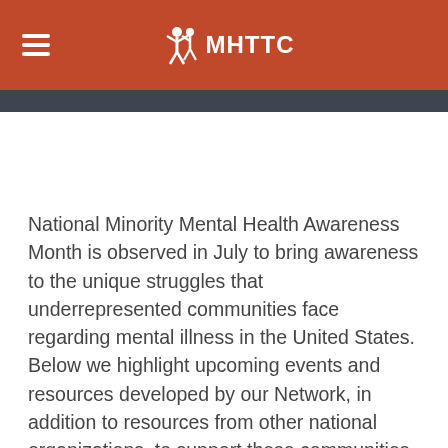MHTTC
National Minority Mental Health Awareness Month is observed in July to bring awareness to the unique struggles that underrepresented communities face regarding mental illness in the United States. Below we highlight upcoming events and resources developed by our Network, in addition to resources from other national organizations, to support these communities.